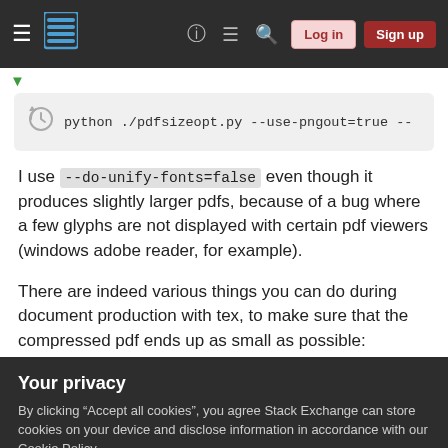Stack Exchange navigation bar with hamburger menu, logo, help, chat, search icons, Log in and Sign up buttons
[Figure (screenshot): History/revision icon (clock with arrow) next to a code block showing: python ./pdfsizeopt.py --use-pngout=true --]
I use --do-unify-fonts=false even though it produces slightly larger pdfs, because of a bug where a few glyphs are not displayed with certain pdf viewers (windows adobe reader, for example).
There are indeed various things you can do during document production with tex, to make sure that the compressed pdf ends up as small as possible:
Your privacy
By clicking "Accept all cookies", you agree Stack Exchange can store cookies on your device and disclose information in accordance with our Cookie Policy.
Accept all cookies   Customize settings
very compressed CEF format, and take care of